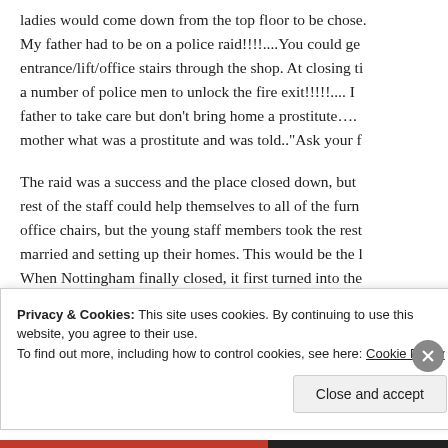ladies would come down from the top floor to be chose. My father had to be on a police raid!!!!....You could ge entrance/lift/office stairs through the shop. At closing ti a number of police men to unlock the fire exit!!!!!.... I father to take care but don't bring home a prostitute.... mother what was a prostitute and was told.."Ask your f
The raid was a success and the place closed down, but rest of the staff could help themselves to all of the furn office chairs, but the young staff members took the rest married and setting up their homes. This would be the l When Nottingham finally closed, it first turned into the started to warp and after a safety check it was found b
Privacy & Cookies: This site uses cookies. By continuing to use this website, you agree to their use.
To find out more, including how to control cookies, see here: Cookie Policy
Close and accept